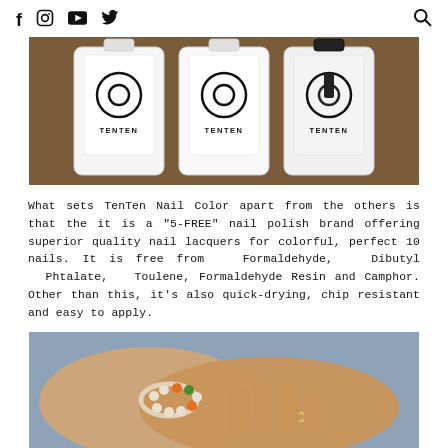f  [instagram]  [youtube]  [twitter]  [search]
[Figure (photo): Three white TenTen nail polish bottles arranged side by side on a wooden surface]
What sets TenTen Nail Color apart from the others is that the it is a "5-FREE" nail polish brand offering superior quality nail lacquers for colorful, perfect 10 nails. It is free from Formaldehyde, Dibutyl Phtalate, Toulene, Formaldehyde Resin and Camphor. Other than this, it's also quick-drying, chip resistant and easy to apply.
[Figure (photo): Two hands overlapping, one wearing a beaded bracelet with orange and green beads, the other wearing a simple ring, against a blue fabric background]